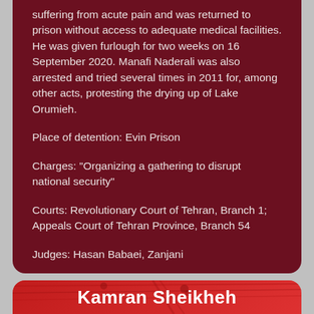suffering from acute pain and was returned to prison without access to adequate medical facilities. He was given furlough for two weeks on 16 September 2020. Manafi Naderali was also arrested and tried several times in 2011 for, among other acts, protesting the drying up of Lake Orumieh.
Place of detention: Evin Prison
Charges: "Organizing a gathering to disrupt national security"
Courts: Revolutionary Court of Tehran, Branch 1; Appeals Court of Tehran Province, Branch 54
Judges: Hasan Babaei, Zanjani
Kamran Sheikheh